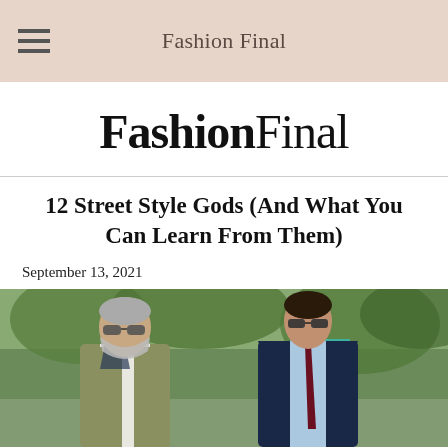Fashion Final
FashionFinal
12 Street Style Gods (And What You Can Learn From Them)
September 13, 2021
[Figure (photo): Two well-dressed men in street style: an older man with grey beard wearing sunglasses and an olive vest over white shirt on the left, and a younger man in a navy pinstripe suit with light blue shirt and burgundy tie on the right. Outdoor setting with green trees and blurred crowd in background.]